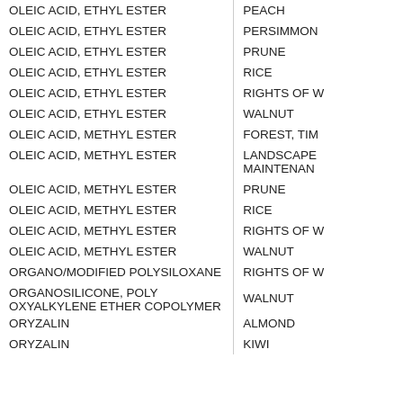| Chemical Name | Crop/Site |
| --- | --- |
| OLEIC ACID, ETHYL ESTER | PEACH |
| OLEIC ACID, ETHYL ESTER | PERSIMMON |
| OLEIC ACID, ETHYL ESTER | PRUNE |
| OLEIC ACID, ETHYL ESTER | RICE |
| OLEIC ACID, ETHYL ESTER | RIGHTS OF W |
| OLEIC ACID, ETHYL ESTER | WALNUT |
| OLEIC ACID, METHYL ESTER | FOREST, TIM |
| OLEIC ACID, METHYL ESTER | LANDSCAPE MAINTENAN |
| OLEIC ACID, METHYL ESTER | PRUNE |
| OLEIC ACID, METHYL ESTER | RICE |
| OLEIC ACID, METHYL ESTER | RIGHTS OF W |
| OLEIC ACID, METHYL ESTER | WALNUT |
| ORGANO/MODIFIED POLYSILOXANE | RIGHTS OF W |
| ORGANOSILICONE, POLY OXYALKYLENE ETHER COPOLYMER | WALNUT |
| ORYZALIN | ALMOND |
| ORYZALIN | KIWI |